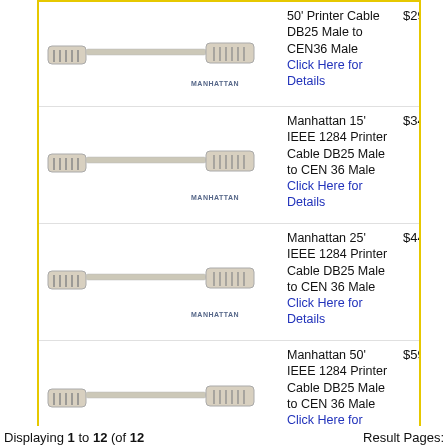[Figure (photo): 50' Printer Cable DB25 Male to CEN36 Male - Manhattan brand cable image]
50' Printer Cable DB25 Male to CEN36 Male
Click Here for Details
$29.99
[Figure (photo): Manhattan 15' IEEE 1284 Printer Cable DB25 Male to CEN 36 Male - cable image]
Manhattan 15' IEEE 1284 Printer Cable DB25 Male to CEN 36 Male
Click Here for Details
$34.95
[Figure (photo): Manhattan 25' IEEE 1284 Printer Cable DB25 Male to CEN 36 Male - cable image]
Manhattan 25' IEEE 1284 Printer Cable DB25 Male to CEN 36 Male
Click Here for Details
$44.95
[Figure (photo): Manhattan 50' IEEE 1284 Printer Cable DB25 Male to CEN 36 Male - cable image]
Manhattan 50' IEEE 1284 Printer Cable DB25 Male to CEN 36 Male
Click Here for Details
$59.95
Displaying 1 to 12 (of 12    Result Pages: